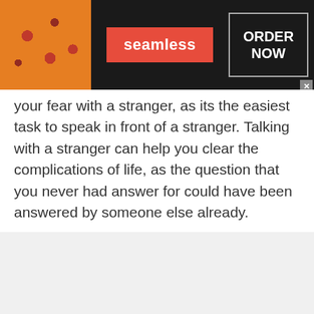[Figure (screenshot): Seamless food delivery advertisement banner with pizza image on left, red 'seamless' badge in center, and 'ORDER NOW' button on right, on dark background]
your fear with a stranger, as its the easiest task to speak in front of a stranger. Talking with a stranger can help you clear the complications of life, as the question that you never had answer for could have been answered by someone else already.
[Figure (screenshot): Two advertisement items at bottom: 'Shop New and Used Car Deals Near You' with SUV image (Ad by Car Deals Near You) and '20 Cringeworthy Lamborghinis That Hurt Our Eyes and Brains!' with Lamborghini image (Ad by RillyNews)]